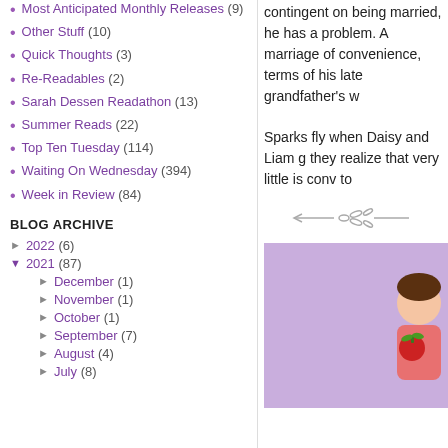Most Anticipated Monthly Releases (9)
Other Stuff (10)
Quick Thoughts (3)
Re-Readables (2)
Sarah Dessen Readathon (13)
Summer Reads (22)
Top Ten Tuesday (114)
Waiting On Wednesday (394)
Week in Review (84)
BLOG ARCHIVE
► 2022 (6)
▼ 2021 (87)
► December (1)
► November (1)
► October (1)
► September (7)
► August (4)
► July (8)
contingent on being married, he has a problem. A marriage of convenience, terms of his late grandfather's w
Sparks fly when Daisy and Liam g they realize that very little is conv to
[Figure (illustration): Decorative arrow/divider graphic in grey]
[Figure (illustration): Book cover image on purple/lilac background with illustrated character holding red item]